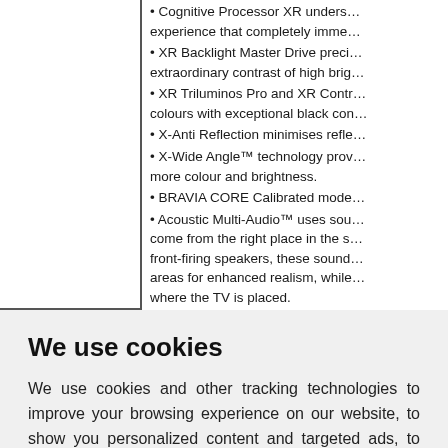• Cognitive Processor XR underst… experience that completely imme… • XR Backlight Master Drive preci… extraordinary contrast of high brig… • XR Triluminos Pro and XR Contr… colours with exceptional black con… • X-Anti Reflection minimises refle… • X-Wide Angle™ technology prov… more colour and brightness. • BRAVIA CORE Calibrated mode… • Acoustic Multi-Audio™ uses sou… come from the right place in the s… front-firing speakers, these sound… areas for enhanced realism, while… where the TV is placed. • Acoustic Center Sync optimises…
We use cookies
We use cookies and other tracking technologies to improve your browsing experience on our website, to show you personalized content and targeted ads, to analyze our website traffic, and